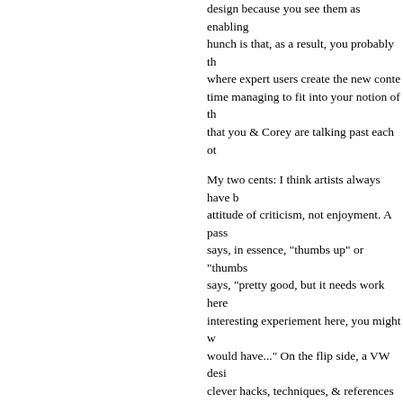4. As we've discussed here before, Alison, design because you see them as enabling... hunch is that, as a result, you probably th... where expert users create the new conten... time managing to fit into your notion of the... that you & Corey are talking past each oth...
My two cents: I think artists always have b... attitude of criticism, not enjoyment. A pass... says, in essence, "thumbs up" or "thumbs... says, "pretty good, but it needs work here... interesting experiement here, you might w... would have..." On the flip side, a VW desi... clever hacks, techniques, & references th... cares much more.
I'm interested in your analogy, Richard, be... difference between the VWs and film, I th... vs. author engagement, if not inverted, at... standard viewing time for a painting in an... seconds and most people don't watch mo... time with a painting, and a director studyi... catch all the details. In the case of film, th... deeper artistic appreciation takes time. W... claim they've *played* deeply in a variety ... wonder, given the workplace dynamics of
(I think Raph does, btw. And while we're c... Raph-inspired "fun is/is not pattern match... tempted here!)
Posted by: greglas | Apr 12, 2005 at 10:28